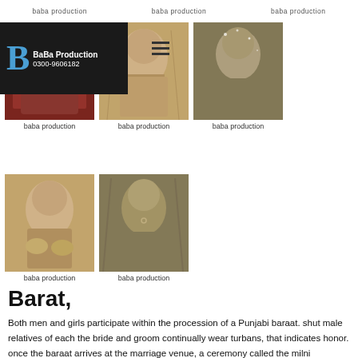baba production   baba production   baba production
[Figure (photo): Logo: BaBa Production with phone number 0300-9606182 on dark background]
[Figure (photo): Sepia-toned photo of a bride in red traditional Pakistani/Punjabi wedding dress lying down]
baba production
[Figure (photo): Sepia-toned close-up photo of a Pakistani bride with bridal jewelry and makeup]
baba production
[Figure (photo): Sepia-toned photo of a Pakistani bride with sparkly headpiece and makeup]
baba production
[Figure (photo): Sepia-toned photo of Pakistani bride holding hands with jewelry visible]
baba production
[Figure (photo): Sepia-toned photo of Pakistani bride with nose ring and traditional makeup]
baba production
Barat,
Both men and girls participate within the procession of a Punjabi baraat. shut male relatives of each the bride and groom continually wear turbans, that indicates honor. once the baraat arrives at the marriage venue, a ceremony called the milni